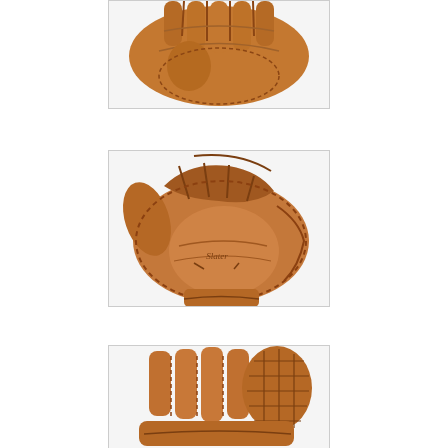[Figure (photo): Top view of a brown leather baseball glove, showing the back of the glove with lacing details, cropped at top]
[Figure (photo): Front view of a brown leather baseball glove showing the palm/pocket side with finger stalls, webbing, and a bird logo stamp]
[Figure (photo): Side/back view of a brown leather baseball glove showing the wrist and finger slots from behind]